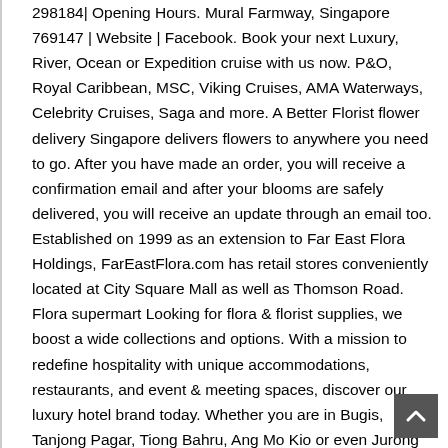298184| Opening Hours. Mural Farmway, Singapore 769147 | Website | Facebook. Book your next Luxury, River, Ocean or Expedition cruise with us now. P&O, Royal Caribbean, MSC, Viking Cruises, AMA Waterways, Celebrity Cruises, Saga and more. A Better Florist flower delivery Singapore delivers flowers to anywhere you need to go. After you have made an order, you will receive a confirmation email and after your blooms are safely delivered, you will receive an update through an email too. Established on 1999 as an extension to Far East Flora Holdings, FarEastFlora.com has retail stores conveniently located at City Square Mall as well as Thomson Road. Flora supermart Looking for flora & florist supplies, we boost a wide collections and options. With a mission to redefine hospitality with unique accommodations, restaurants, and event & meeting spaces, discover our luxury hotel brand today. Whether you are in Bugis, Tanjong Pagar, Tiong Bahru, Ang Mo Kio or even Jurong East, A Better Florist same day flower delivery is able to meet your needs. Xpressflower.com is one of Singapore's leading flowers & gifts service provider that has been delivering gorgeous flowers for more than 15 years! Goodwin Florist 565 Thomson Road